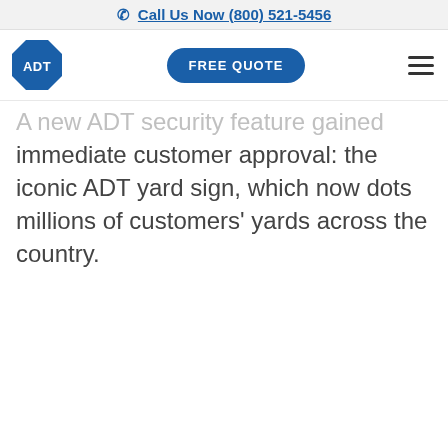Call Us Now (800) 521-5456
[Figure (logo): ADT octagonal blue logo and navigation bar with FREE QUOTE button and hamburger menu]
A new ADT security feature gained immediate customer approval: the iconic ADT yard sign, which now dots millions of customers' yards across the country.